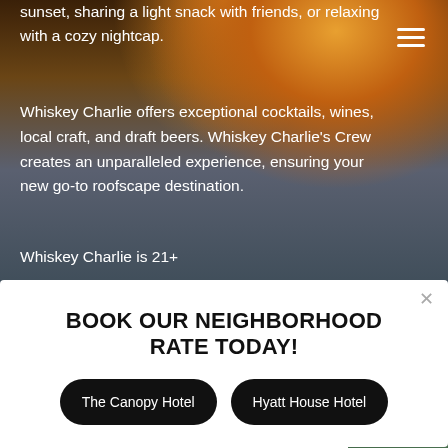[Figure (photo): Marina at sunset with boats, warm orange glow, dark water]
sunset, sharing a light snack with friends, or relaxing with a cozy nightcap.
Whiskey Charlie offers exceptional cocktails, wines, local craft, and draft beers. Whiskey Charlie’s Crew creates an unparalleled experience, ensuring your new go-to roofscape destination.
Whiskey Charlie is 21+
BOOK OUR NEIGHBORHOOD RATE TODAY!
The Canopy Hotel
Hyatt House Hotel
[Figure (photo): Partial view of greenery/plants, bottom right corner]